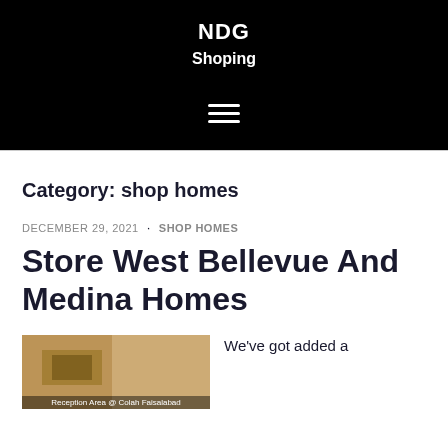NDG
Shoping
Category: shop homes
DECEMBER 29, 2021 · SHOP HOMES
Store West Bellevue And Medina Homes
[Figure (photo): Thumbnail image of a reception area with caption 'Reception Area @ Colah Faisalabad']
We've got added a